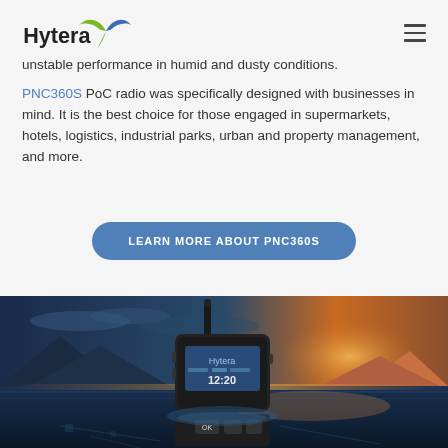Hytera
unstable performance in humid and dusty conditions.
PNC360S PoC radio was specifically designed with businesses in mind. It is the best choice for those engaged in supermarkets, hotels, logistics, industrial parks, urban and property management, and more.
LEARN MORE ABOUT PNC360S
[Figure (photo): Hytera PNC360S PoC radio device shown in dramatic outdoor scene with mountains, water, and sunset lighting. The radio displays 'Hytera' branding and shows a time display of 12:20.]